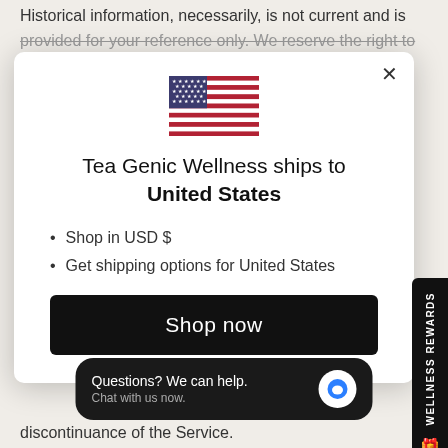Historical information, necessarily, is not current and is provided for your reference only. We reserve the right to
[Figure (screenshot): Modal dialog showing Tea Genic Wellness ships to United States with US flag, two bullet points, and a Shop now button]
Shop in USD $
Get shipping options for United States
Shop now
Questions? We can help. Chat with us now.
discontinuance of the Service.